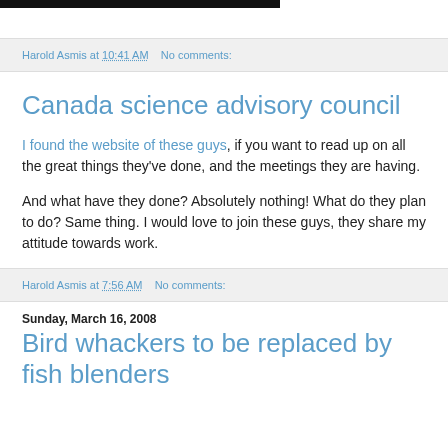[Figure (photo): Black image/header bar at top of page]
Harold Asmis at 10:41 AM   No comments:
Canada science advisory council
I found the website of these guys, if you want to read up on all the great things they've done, and the meetings they are having.
And what have they done? Absolutely nothing! What do they plan to do? Same thing. I would love to join these guys, they share my attitude towards work.
Harold Asmis at 7:56 AM   No comments:
Sunday, March 16, 2008
Bird whackers to be replaced by fish blenders